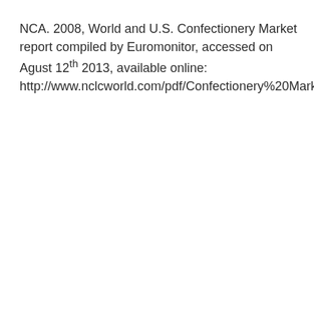NCA. 2008, World and U.S. Confectionery Market report compiled by Euromonitor, accessed on Agust 12th 2013, available online: http://www.nclcworld.com/pdf/Confectionery%20Market%2df.